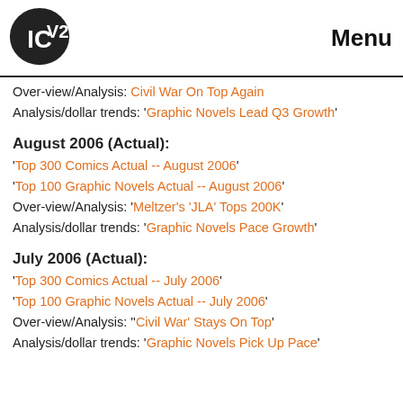ICV2 | Menu
Over-view/Analysis: Civil War On Top Again
Analysis/dollar trends: 'Graphic Novels Lead Q3 Growth'
August 2006 (Actual):
'Top 300 Comics Actual -- August 2006'
'Top 100 Graphic Novels Actual -- August 2006'
Over-view/Analysis: 'Meltzer's 'JLA' Tops 200K'
Analysis/dollar trends: 'Graphic Novels Pace Growth'
July 2006 (Actual):
'Top 300 Comics Actual -- July 2006'
'Top 100 Graphic Novels Actual -- July 2006'
Over-view/Analysis: ''Civil War' Stays On Top'
Analysis/dollar trends: 'Graphic Novels Pick Up Pace'